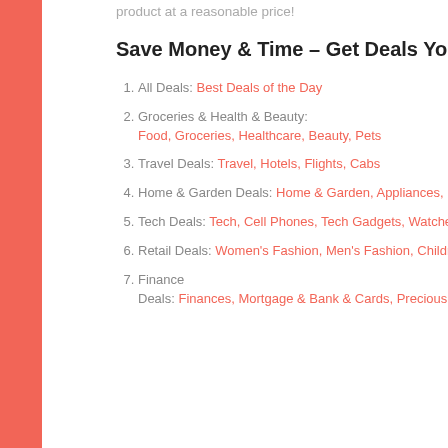product at a reasonable price!
Save Money & Time – Get Deals You LOVE!
All Deals: Best Deals of the Day
Groceries & Health & Beauty: Food, Groceries, Healthcare, Beauty, Pets
Travel Deals: Travel, Hotels, Flights, Cabs
Home & Garden Deals: Home & Garden, Appliances, Furniture
Tech Deals: Tech, Cell Phones, Tech Gadgets, Watches & Smart Watches, Software
Retail Deals: Women's Fashion, Men's Fashion, Children, Jewelry, Automobile, Sporting Goods
Finance Deals: Finances, Mortgage & Bank & Cards, Precious Metals